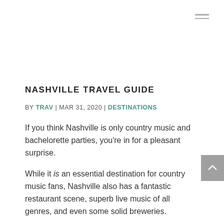[Figure (other): Hamburger menu icon (three horizontal lines) in top right corner]
NASHVILLE TRAVEL GUIDE
BY TRAV | MAR 31, 2020 | DESTINATIONS
If you think Nashville is only country music and bachelorette parties, you're in for a pleasant surprise.
While it is an essential destination for country music fans, Nashville also has a fantastic restaurant scene, superb live music of all genres, and even some solid breweries.